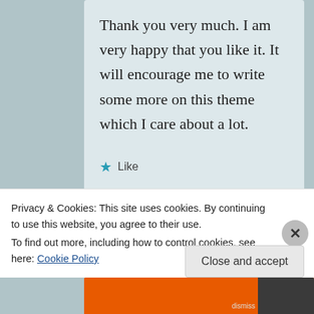Thank you very much. I am very happy that you like it. It will encourage me to write some more on this theme which I care about a lot.
★ Like
REPLY
Privacy & Cookies: This site uses cookies. By continuing to use this website, you agree to their use.
To find out more, including how to control cookies, see here: Cookie Policy
Close and accept